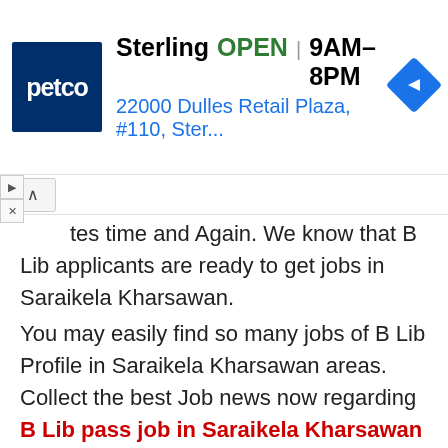[Figure (screenshot): Petco advertisement banner showing store name 'Sterling', status 'OPEN', hours '9AM–8PM', address '22000 Dulles Retail Plaza, #110, Ster...', Petco logo (dark blue square with white 'petco' text), and a blue diamond-shaped navigation arrow icon on the right.]
tes time and Again. We know that B Lib applicants are ready to get jobs in Saraikela Kharsawan.
You may easily find so many jobs of B Lib Profile in Saraikela Kharsawan areas. Collect the best Job news now regarding B Lib pass job in Saraikela Kharsawan 2022. In upcoming time, there will be so many B Lib jobs available for B Lib Students in Saraikela Kharsawan so be ready for that. All of B Lib Candidate have bright future to get Jobs in Saraikela Kharsawan.